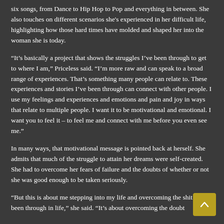six songs, from Dance to Hip Hop to Pop and everything in between. She also touches on different scenarios she's experienced in her difficult life, highlighting how those hard times have molded and shaped her into the woman she is today.
“It’s basically a project that shows the struggles I’ve been through to get to where I am,” Priceless said. “I’m more raw and can speak to a broad range of experiences. That’s something many people can relate to. These experiences and stories I’ve been through can connect with other people. I use my feelings and experiences and emotions and pain and joy in ways that relate to multiple people. I want it to be motivational and emotional. I want you to feel it – to feel me and connect with me before you even see me.”
In many ways, that motivational message is pointed back at herself. She admits that much of the struggle to attain her dreams were self-created. She had to overcome her fears of failure and the doubts of whether or not she was good enough to be taken seriously.
“But this is about me stepping into my life and overcoming the shit I’ve been through in life,” she said. “It’s about overcoming the doubt